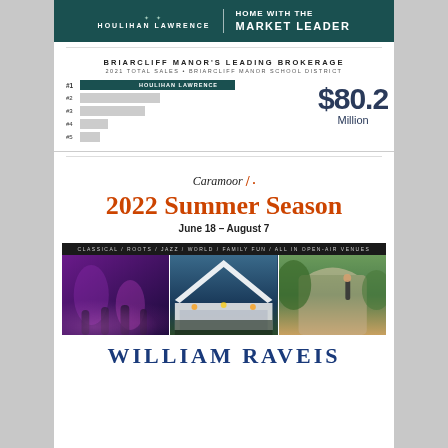[Figure (logo): Houlihan Lawrence logo and 'Home with the Market Leader' tagline on dark teal background]
BRIARCLIFF MANOR'S LEADING BROKERAGE
2021 TOTAL SALES • BRIARCLIFF MANOR SCHOOL DISTRICT
[Figure (bar-chart): Briarcliff Manor Leading Brokerage - 2021 Total Sales]
$80.2 Million
[Figure (logo): Caramoor logo with orange slash mark]
2022 Summer Season
June 18 – August 7
[Figure (photo): Three photos: concert crowd with purple lighting, open-air tent venue at dusk, outdoor garden performance. Header text: CLASSICAL / ROOTS / JAZZ / WORLD / FAMILY FUN / ALL IN OPEN-AIR VENUES]
WILLIAM RAVEIS